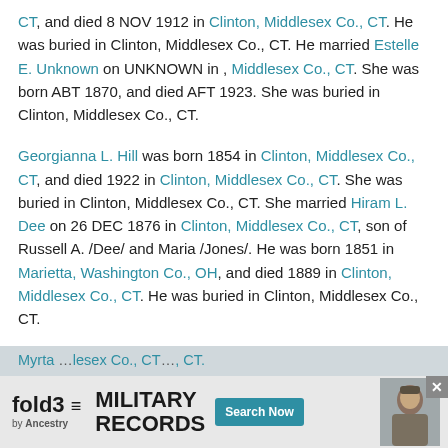CT, and died 8 NOV 1912 in Clinton, Middlesex Co., CT. He was buried in Clinton, Middlesex Co., CT. He married Estelle E. Unknown on UNKNOWN in , Middlesex Co., CT. She was born ABT 1870, and died AFT 1923. She was buried in Clinton, Middlesex Co., CT.
Georgianna L. Hill was born 1854 in Clinton, Middlesex Co., CT, and died 1922 in Clinton, Middlesex Co., CT. She was buried in Clinton, Middlesex Co., CT. She married Hiram L. Dee on 26 DEC 1876 in Clinton, Middlesex Co., CT, son of Russell A. /Dee/ and Maria /Jones/. He was born 1851 in Marietta, Washington Co., OH, and died 1889 in Clinton, Middlesex Co., CT. He was buried in Clinton, Middlesex Co., CT.
Charles C. Hill was born 1855 in Clinton, Middlesex Co., CT, and died 1929. He was buried in Clinton, Middlesex Co., CT.
Myrta [partial, obscured by ad banner] ...lesex Co., CT... , CT.
[Figure (infographic): Fold3 by Ancestry advertisement banner for Military Records with Search Now button and soldier photo]